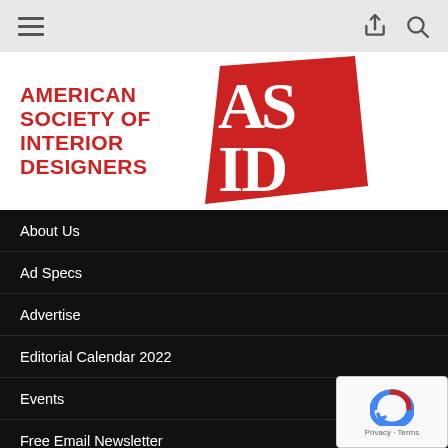Navigation bar with hamburger menu, share icon, and search icon
[Figure (logo): American Society of Interior Designers (ASID) logo — red text on left reading AMERICAN SOCIETY OF INTERIOR DESIGNERS, and red ASID monogram mark on right]
About Us
Ad Specs
Advertise
Editorial Calendar 2022
Events
Free Email Newsletter
Industry News
Job Board